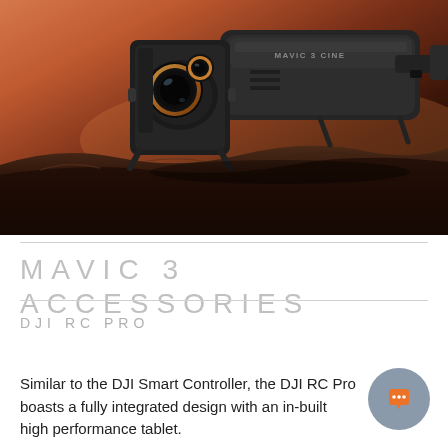[Figure (photo): DJI Mavic 3 Cine drone photographed at dusk/sunset on rocky terrain, showing front gimbal with dual camera lenses and folded arms. Dark silhouette against warm orange-red sunset sky. Text 'MAVIC 3 CINE' visible on drone body.]
MAVIC 3 ACCESSORIES
DJI RC PRO
Similar to the DJI Smart Controller, the DJI RC Pro boasts a fully integrated design with an in-built high performance tablet.